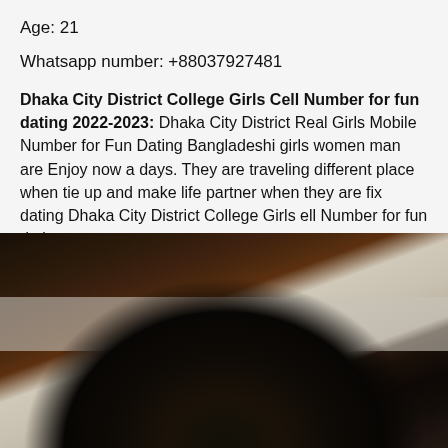Age: 21
Whatsapp number: +88037927481
Dhaka City District College Girls Cell Number for fun dating 2022-2023: Dhaka City District Real Girls Mobile Number for Fun Dating Bangladeshi girls women man are Enjoy now a days. They are traveling different place when tie up and make life partner when they are fix dating Dhaka City District College Girls ell Number for fun dating…
[Figure (photo): Photo showing dark hair of a person from behind/above, with tiled wall/floor background visible in upper portion]